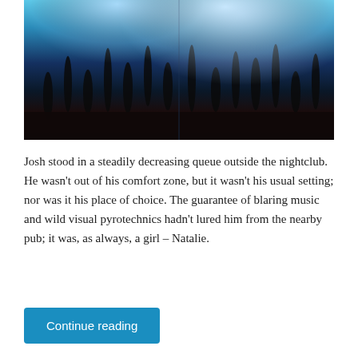[Figure (photo): A dark nightclub scene with crowds of people raising their hands, lit by blue and white stage lighting from above.]
Josh stood in a steadily decreasing queue outside the nightclub. He wasn't out of his comfort zone, but it wasn't his usual setting; nor was it his place of choice. The guarantee of blaring music and wild visual pyrotechnics hadn't lured him from the nearby pub; it was, as always, a girl – Natalie.
Continue reading